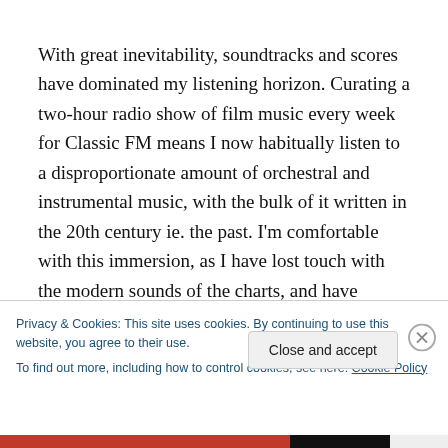With great inevitability, soundtracks and scores have dominated my listening horizon. Curating a two-hour radio show of film music every week for Classic FM means I now habitually listen to a disproportionate amount of orchestral and instrumental music, with the bulk of it written in the 20th century ie. the past. I'm comfortable with this immersion, as I have lost touch with the modern sounds of the charts, and have trouble remembering the
Privacy & Cookies: This site uses cookies. By continuing to use this website, you agree to their use.
To find out more, including how to control cookies, see here: Cookie Policy
Close and accept